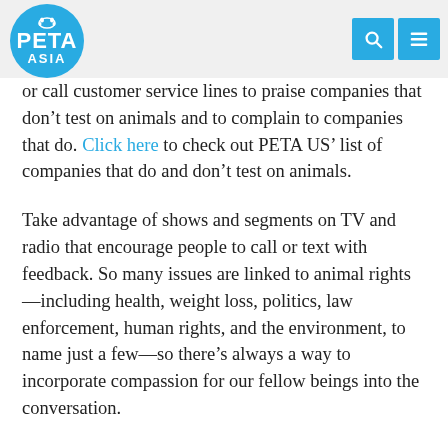PETA ASIA
or call customer service lines to praise companies that don't test on animals and to complain to companies that do. Click here to check out PETA US' list of companies that do and don't test on animals.
Take advantage of shows and segments on TV and radio that encourage people to call or text with feedback. So many issues are linked to animal rights—including health, weight loss, politics, law enforcement, human rights, and the environment, to name just a few—so there's always a way to incorporate compassion for our fellow beings into the conversation.
Let your favorite restaurants and grocery stores know that you want more vegan options.
Many stores don't let their customers (or even their